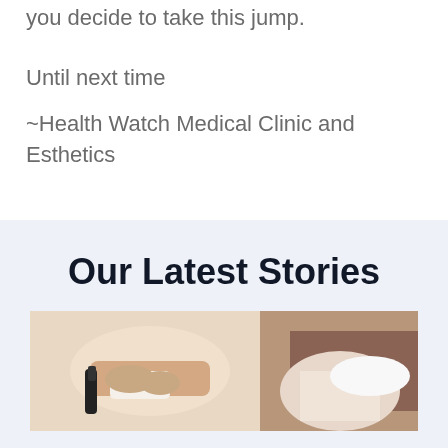you decide to take this jump.
Until next time
~Health Watch Medical Clinic and Esthetics
Our Latest Stories
[Figure (photo): Medical professional in gloves holding a medical device, with another person visible in the background]